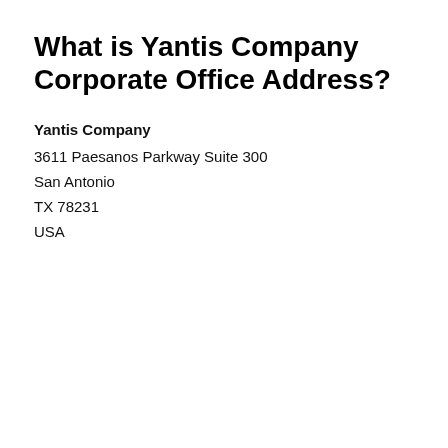What is Yantis Company Corporate Office Address?
Yantis Company
3611 Paesanos Parkway Suite 300
San Antonio
TX 78231
USA